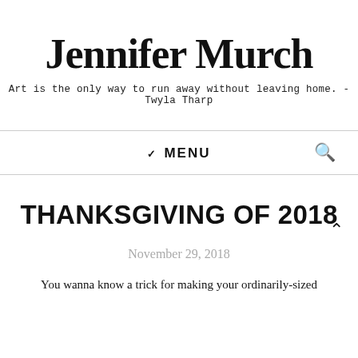Jennifer Murch
Art is the only way to run away without leaving home. -Twyla Tharp
✓ MENU 🔍
THANKSGIVING OF 2018
November 29, 2018
You wanna know a trick for making your ordinarily-sized